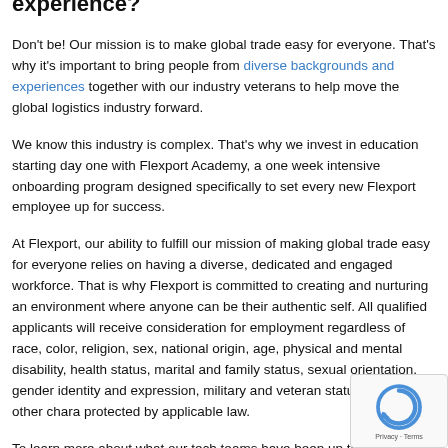Worried about not having any logistics experience?
Don't be! Our mission is to make global trade easy for everyone. That's why it's important to bring people from diverse backgrounds and experiences together with our industry veterans to help move the global logistics industry forward.
We know this industry is complex. That's why we invest in education starting day one with Flexport Academy, a one week intensive onboarding program designed specifically to set every new Flexport employee up for success.
At Flexport, our ability to fulfill our mission of making global trade easy for everyone relies on having a diverse, dedicated and engaged workforce. That is why Flexport is committed to creating and nurturing an environment where anyone can be their authentic self. All qualified applicants will receive consideration for employment regardless of race, color, religion, sex, national origin, age, physical and mental disability, health status, marital and family status, sexual orientation, gender identity and expression, military and veteran status, and any other chara... protected by applicable law.
To learn more about what our tech teams have been up to, head to the...